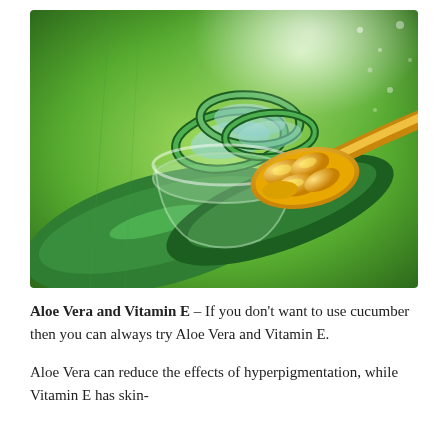[Figure (photo): Photo of aloe vera leaves and slices in a glass bowl, alongside golden vitamin E capsules on a wooden spoon, set against a bright green background.]
Aloe Vera and Vitamin E – If you don't want to use cucumber then you can always try Aloe Vera and Vitamin E.
Aloe Vera can reduce the effects of hyperpigmentation, while Vitamin E has skin-